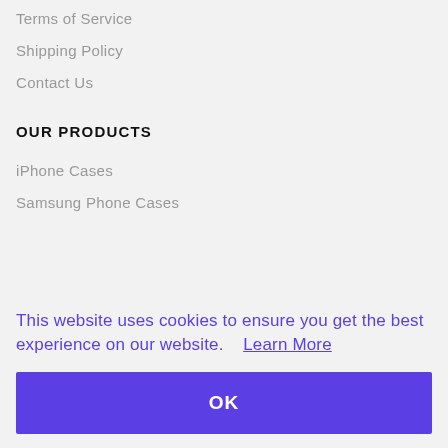Terms of Service
Shipping Policy
Contact Us
OUR PRODUCTS
iPhone Cases
Samsung Phone Cases
This website uses cookies to ensure you get the best experience on our website.    Learn More
OK